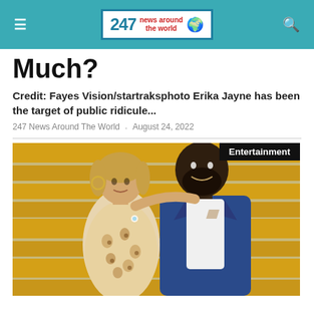247 News Around The World
Much?
Credit: Fayes Vision/startraksphoto Erika Jayne has been the target of public ridicule...
247 News Around The World · August 24, 2022
[Figure (photo): A woman in a leopard-print dress and a man in a blue suit standing in front of yellow bleachers. An 'Entertainment' label appears in the top right corner of the image.]